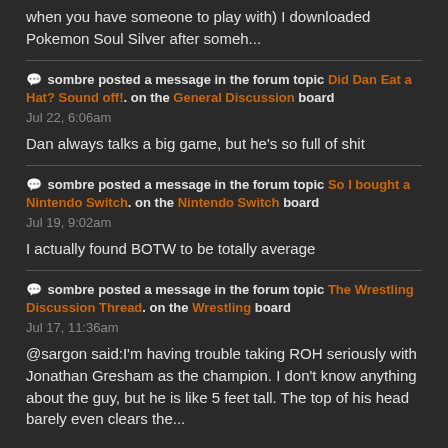when you have someone to play with) I downloaded Pokemon Soul Silver after someh...
sombre posted a message in the forum topic Did Dan Eat a Hat? Sound off!. on the General Discussion board
Jul 22, 6:06am
Dan always talks a big game, but he's so full of shit
sombre posted a message in the forum topic So I bought a Nintendo Switch. on the Nintendo Switch board
Jul 19, 9:02am
I actually found BOTW to be totally average
sombre posted a message in the forum topic The Wrestling Discussion Thread. on the Wrestling board
Jul 17, 11:36am
@sargon said:I'm having trouble taking ROH seriously with Jonathan Gresham as the champion. I don't know anything about the guy, but he is like 5 feet tall. The top of his head barely even clears the...